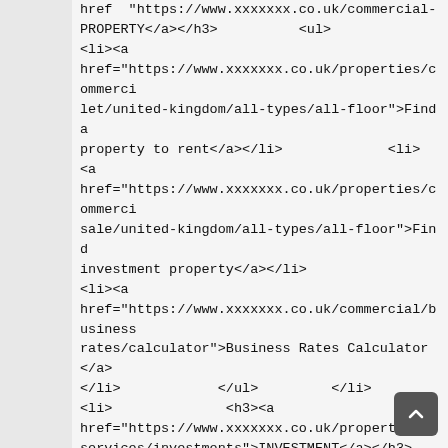href="https://www.xxxxxxx.co.uk/commercial-PROPERTY</a></h3>          <ul>
<li><a href="https://www.xxxxxxx.co.uk/properties/commerci let/united-kingdom/all-types/all-floor">Find a property to rent</a></li>                     <li>
<a href="https://www.xxxxxxx.co.uk/properties/commerci sale/united-kingdom/all-types/all-floor">Find investment property</a></li>
<li><a href="https://www.xxxxxxx.co.uk/commercial/business rates/calculator">Business Rates Calculator</a>
</li>                </ul>             </li>
<li>                  <h3><a href="https://www.xxxxxxx.co.uk/property-services/investments">INVESTMENT</a></h3>
<ul>                   <li><a href="https://www.xxxxxxx.co.uk/commercial/investme Property Investment</a></li>
<li><a href="https://www.xxxxxxx.co.uk/residential/residen development/residential-capital-